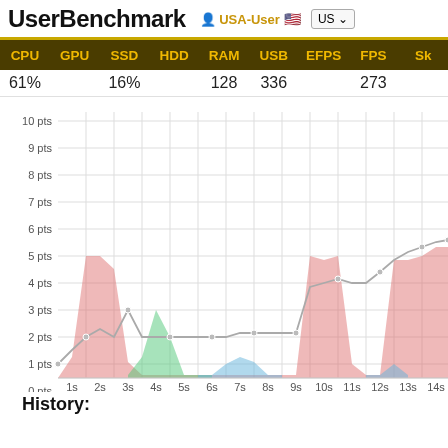UserBenchmark  USA-User  US
| CPU | GPU | SSD | HDD | RAM | USB | EFPS | FPS | Sk |
| --- | --- | --- | --- | --- | --- | --- | --- | --- |
| 61% |  | 16% |  | 128 | 336 |  | 273 |  |
[Figure (area-chart): Multi-series area chart showing performance points over time with pink/red, green, blue areas and a gray line trend]
History: